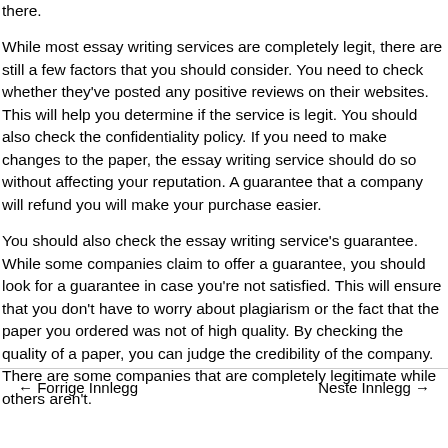there.
While most essay writing services are completely legit, there are still a few factors that you should consider. You need to check whether they've posted any positive reviews on their websites. This will help you determine if the service is legit. You should also check the confidentiality policy. If you need to make changes to the paper, the essay writing service should do so without affecting your reputation. A guarantee that a company will refund you will make your purchase easier.
You should also check the essay writing service's guarantee. While some companies claim to offer a guarantee, you should look for a guarantee in case you're not satisfied. This will ensure that you don't have to worry about plagiarism or the fact that the paper you ordered was not of high quality. By checking the quality of a paper, you can judge the credibility of the company. There are some companies that are completely legitimate while others aren't.
← Forrige Innlegg    Neste Innlegg →